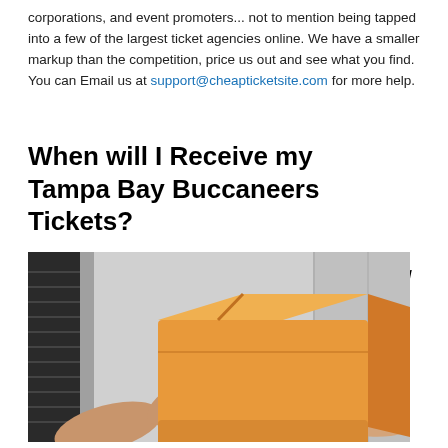corporations, and event promoters... not to mention being tapped into a few of the largest ticket agencies online. We have a smaller markup than the competition, price us out and see what you find. You can Email us at support@cheapticketsite.com for more help.
When will I Receive my Tampa Bay Buccaneers Tickets?
E-Tix/
[Figure (photo): A person handing a large yellow/orange package box to another person's hands, in front of a door or locker background.]